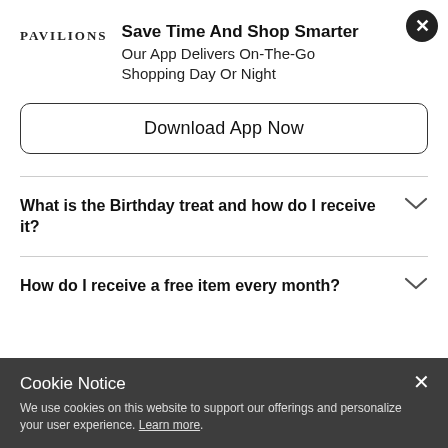[Figure (logo): Pavilions grocery store logo with text 'PAVILIONS' in serif font]
Save Time And Shop Smarter
Our App Delivers On-The-Go Shopping Day Or Night
Download App Now
What is the Birthday treat and how do I receive it?
How do I receive a free item every month?
Cookie Notice
We use cookies on this website to support our offerings and personalize your user experience. Learn more.